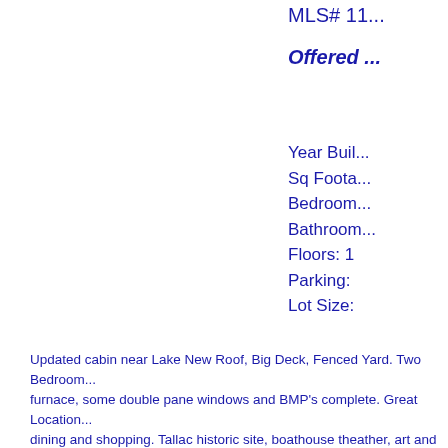MLS# 11...
Offered ...
Year Buil...
Sq Foota...
Bedroom...
Bathroom...
Floors: 1
Parking:
Lot Size:
Updated cabin near Lake New Roof, Big Deck, Fenced Yard. Two Bedroom... furnace, some double pane windows and BMP's complete. Great Location... dining and shopping. Tallac historic site, boathouse theather, art and beach... shore. A lifestlye in an investment.
Contact Debbie Jacobson at South She...
[Figure (photo): Agent photo or realty logo in footer bar]